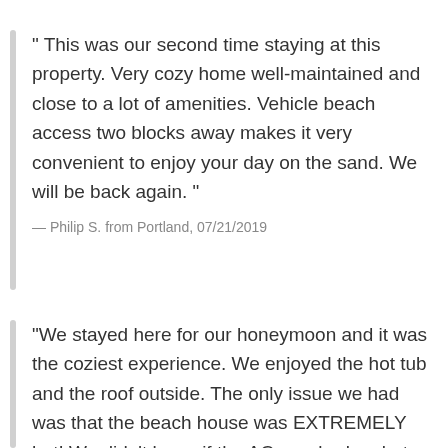" This was our second time staying at this property. Very cozy home well-maintained and close to a lot of amenities. Vehicle beach access two blocks away makes it very convenient to enjoy your day on the sand. We will be back again. "
— Philip S. from Portland, 07/21/2019
"We stayed here for our honeymoon and it was the coziest experience. We enjoyed the hot tub and the roof outside. The only issue we had was that the beach house was EXTREMELY hot! We didn't know if the AC was broken but we had to leave the door open (the windows do not open). The bathroom is nice but the shower is very dark and